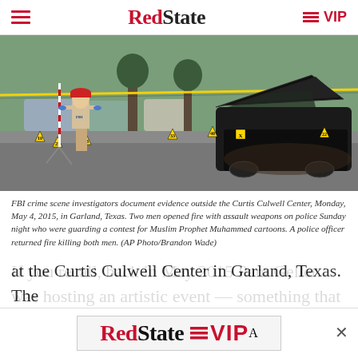RedState | VIP
[Figure (photo): FBI crime scene investigators at the Curtis Culwell Center in Garland, Texas. A burned car with the hood open is in the foreground and yellow crime scene tape is visible. An investigator with a measuring rod stands to the left. Evidence markers are visible on the ground.]
FBI crime scene investigators document evidence outside the Curtis Culwell Center, Monday, May 4, 2015, in Garland, Texas. Two men opened fire with assault weapons on police Sunday night who were guarding a contest for Muslim Prophet Muhammed cartoons. A police officer returned fire killing both men. (AP Photo/Brandon Wade)
If you recall, back in May 2015 Pam Geller was hosting an artistic event — something that was as deserving of funding as anything ever underwritten by the National
at the Curtis Culwell Center in Garland, Texas. The